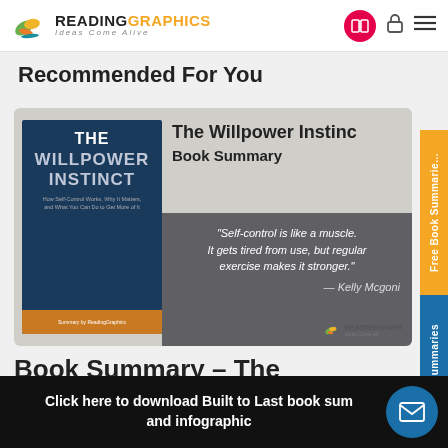READINGGRAPHICS — Ideas Come Alive
Recommended For You
[Figure (illustration): Book summary card for The Willpower Instinct featuring book cover and a quote: 'Self-control is like a muscle. It gets tired from use, but regular exercise makes it stronger.' — Kelly Mcgonigal. ReadingGraphics branding visible.]
Book Summary – The
Click here to download Built to Last book summary and infographic